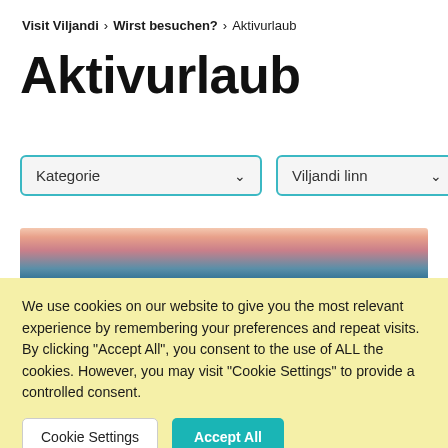Visit Viljandi > Wirst besuchen? > Aktivurlaub
Aktivurlaub
[Figure (screenshot): Two dropdown filter controls with teal borders: 'Kategorie' and 'Viljandi linn']
[Figure (photo): Blurred coastal/lake landscape photo with pink and orange sunset sky above blue-grey water]
We use cookies on our website to give you the most relevant experience by remembering your preferences and repeat visits. By clicking "Accept All", you consent to the use of ALL the cookies. However, you may visit "Cookie Settings" to provide a controlled consent.
Cookie Settings | Accept All